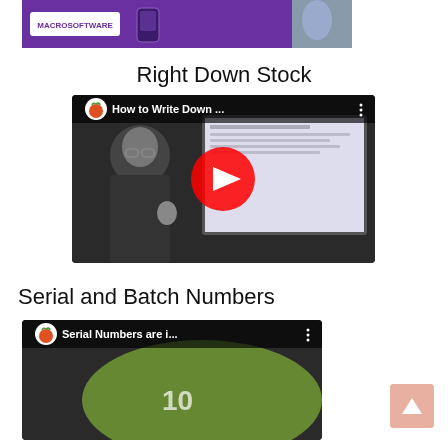[Figure (screenshot): Partial top image showing a purple banner with 'MACROSOFTWARE' badge and a phone graphic with a person in the background]
Right Down Stock
[Figure (screenshot): YouTube video thumbnail for 'How to Write Down ...' showing a man in glasses and a computer screen with a YouTube play button overlay, and a circular fruit (tomato) logo in top left]
Serial and Batch Numbers
[Figure (screenshot): YouTube video thumbnail for 'Serial Numbers are i...' showing a circular fruit (tomato) logo and a green background, partially visible]